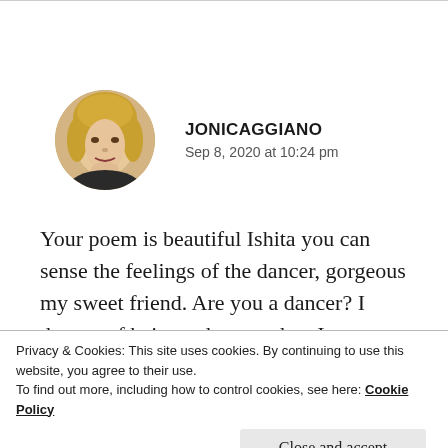[Figure (photo): Circular avatar photo of a woman with blonde hair]
JONICAGGIANO
Sep 8, 2020 at 10:24 pm
Your poem is beautiful Ishita you can sense the feelings of the dancer, gorgeous my sweet friend. Are you a dancer? I dreamt of being a dancer when I
Privacy & Cookies: This site uses cookies. By continuing to use this website, you agree to their use.
To find out more, including how to control cookies, see here: Cookie Policy
Close and accept
the Not Sunday, I wish like a child as I watched I